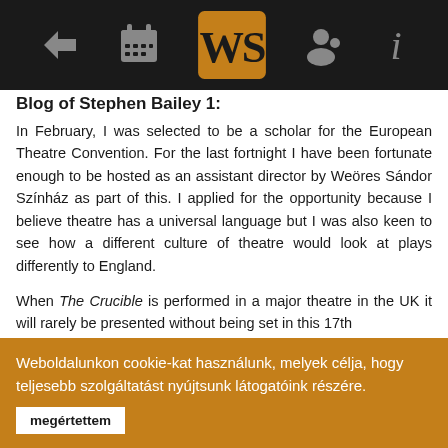[Figure (screenshot): Navigation bar with icons: back arrow, calendar, central logo (WS stylized), person/profile icon, info icon. Dark background.]
Blog of Stephen Bailey 1:
In February, I was selected to be a scholar for the European Theatre Convention. For the last fortnight I have been fortunate enough to be hosted as an assistant director by Weöres Sándor Színház as part of this. I applied for the opportunity because I believe theatre has a universal language but I was also keen to see how a different culture of theatre would look at plays differently to England.
When The Crucible is performed in a major theatre in the UK it will rarely be presented without being set in this 17th
Weboldalunkon cookie-kat használunk, melyek célja, hogy teljesebb szolgáltatást nyújtsunk látogatóink részére.
megértettem